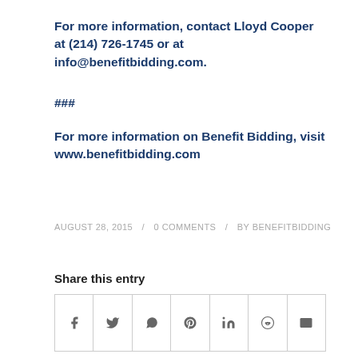For more information, contact Lloyd Cooper at (214) 726-1745 or at info@benefitbidding.com.
###
For more information on Benefit Bidding, visit www.benefitbidding.com
AUGUST 28, 2015 / 0 COMMENTS / BY BENEFITBIDDING
Share this entry
[Figure (other): Social share buttons row with icons for Facebook, Twitter, WhatsApp, Pinterest, LinkedIn, Reddit, and Email]